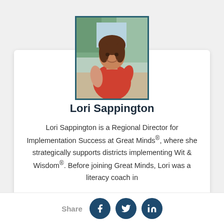[Figure (photo): Headshot photo of Lori Sappington, a woman with brown hair wearing a red sleeveless top, smiling outdoors with trees in the background, framed with a teal border.]
Lori Sappington
Lori Sappington is a Regional Director for Implementation Success at Great Minds®, where she strategically supports districts implementing Wit & Wisdom®. Before joining Great Minds, Lori was a literacy coach in
Share